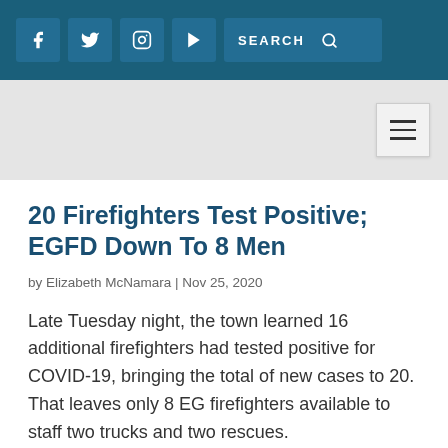f  [Twitter]  [Instagram]  [YouTube]  SEARCH
[Figure (screenshot): Website header/navigation bar with teal background, social media icons (Facebook, Twitter, Instagram, YouTube) and a search bar, followed by a gray logo/banner area with hamburger menu icon]
20 Firefighters Test Positive; EGFD Down To 8 Men
by Elizabeth McNamara | Nov 25, 2020
Late Tuesday night, the town learned 16 additional firefighters had tested positive for COVID-19, bringing the total of new cases to 20. That leaves only 8 EG firefighters available to staff two trucks and two rescues.